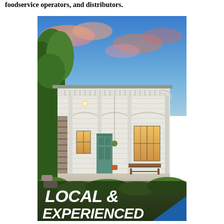foodservice operators, and distributors.
[Figure (photo): Photo of a white Victorian-style house with a covered front porch, decorative trim, columns, two windows glowing with warm light, a green front door, a wooden bench on the porch, lush greenery in the foreground, and a colorful sunset sky. Overlaid at the bottom is bold white italic text reading 'LOCAL & EXPERIENCED' with a blue triangular shape in the bottom right corner.]